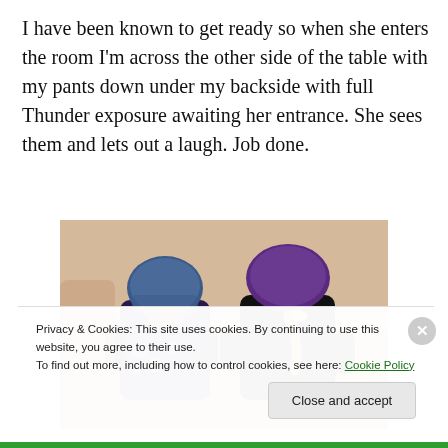I have been known to get ready so when she enters the room I'm across the other side of the table with my pants down under my backside with full Thunder exposure awaiting her entrance. She sees them and lets out a laugh. Job done.
[Figure (photo): Two roller derby players seen from behind, wearing helmets and elbow pads, in a sports hall.]
Privacy & Cookies: This site uses cookies. By continuing to use this website, you agree to their use.
To find out more, including how to control cookies, see here: Cookie Policy